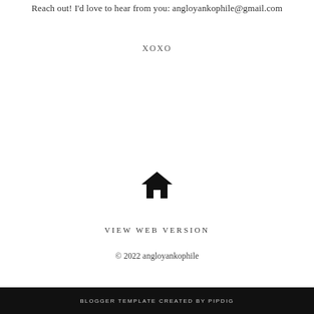Reach out! I'd love to hear from you: angloyankophile@gmail.com
XOXO
[Figure (illustration): Black home/house icon]
VIEW WEB VERSION
© 2022 angloyankophile
BLOGGER TEMPLATE CREATED BY pipdig